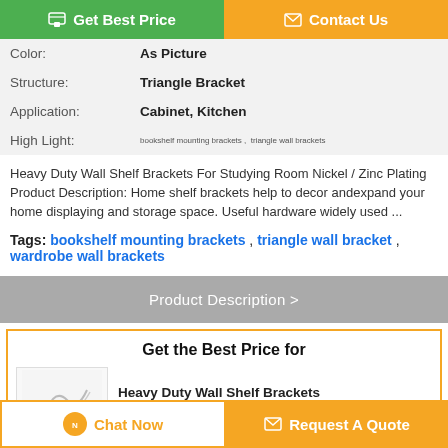[Figure (other): Get Best Price button (green) and Contact Us button (orange) at the top]
| Color: | As Picture |
| Structure: | Triangle Bracket |
| Application: | Cabinet, Kitchen |
| High Light: | bookshelf mounting brackets , triangle wall brackets |
Heavy Duty Wall Shelf Brackets For Studying Room Nickel / Zinc Plating Product Description: Home shelf brackets help to decor andexpand your home displaying and storage space. Useful hardware widely used ...
Tags: bookshelf mounting brackets , triangle wall bracket , wardrobe wall brackets
Product Description >
Get the Best Price for
Heavy Duty Wall Shelf Brackets For Studying Room Nickel / Zinc...
[Figure (photo): Product thumbnail image of wall shelf bracket]
Chat Now   Request A Quote